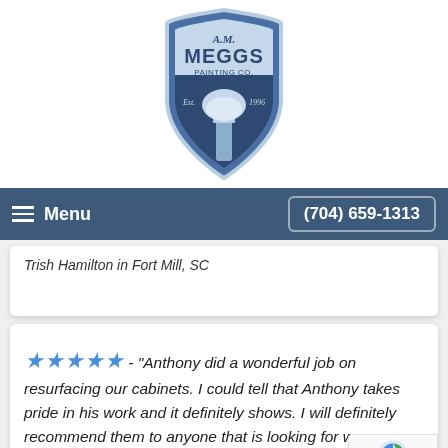[Figure (logo): A.M. Meggs Painting Co. shield logo with paintbrush, Est. 1996]
Menu | (704) 659-1313
Trish Hamilton in Fort Mill, SC
★★★★★ - "Anthony did a wonderful job on resurfacing our cabinets. I could tell that Anthony takes pride in his work and it definitely shows. I will definitely recommend them to anyone that is looking for work done."